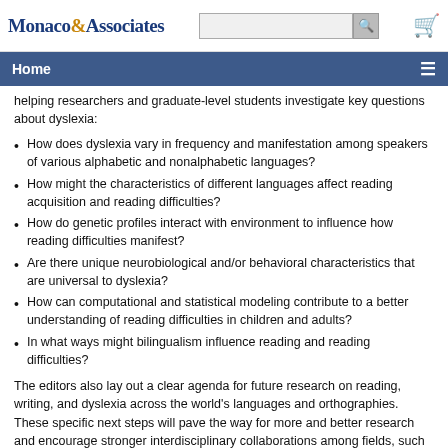Monaco & Associates | Home
helping researchers and graduate-level students investigate key questions about dyslexia:
How does dyslexia vary in frequency and manifestation among speakers of various alphabetic and nonalphabetic languages?
How might the characteristics of different languages affect reading acquisition and reading difficulties?
How do genetic profiles interact with environment to influence how reading difficulties manifest?
Are there unique neurobiological and/or behavioral characteristics that are universal to dyslexia?
How can computational and statistical modeling contribute to a better understanding of reading difficulties in children and adults?
In what ways might bilingualism influence reading and reading difficulties?
The editors also lay out a clear agenda for future research on reading, writing, and dyslexia across the world's languages and orthographies. These specific next steps will pave the way for more and better research and encourage stronger interdisciplinary collaborations among fields, such as cognitive science, neuroscience, genetics, and education.